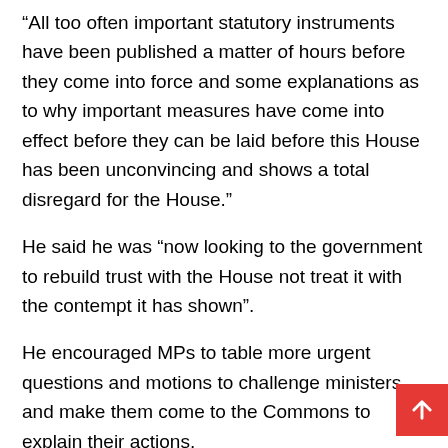“All too often important statutory instruments have been published a matter of hours before they come into force and some explanations as to why important measures have come into effect before they can be laid before this House has been unconvincing and shows a total disregard for the House.”
He said he was “now looking to the government to rebuild trust with the House not treat it with the contempt it has shown”.
He encouraged MPs to table more urgent questions and motions to challenge ministers and make them come to the Commons to explain their actions.